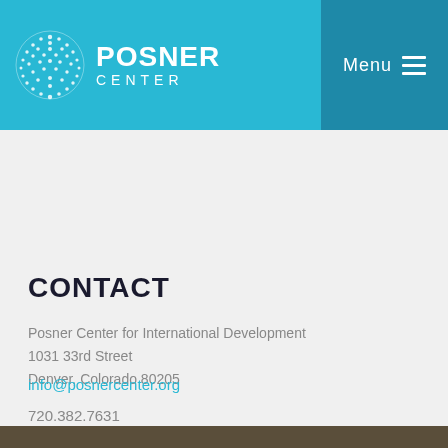POSNER CENTER — Menu
JOBS & INTERNSHIPS
NEWSLETTER
CONTACT
Posner Center for International Development
1031 33rd Street
Denver, Colorado 80205
info@posnercenter.org
720.382.7631